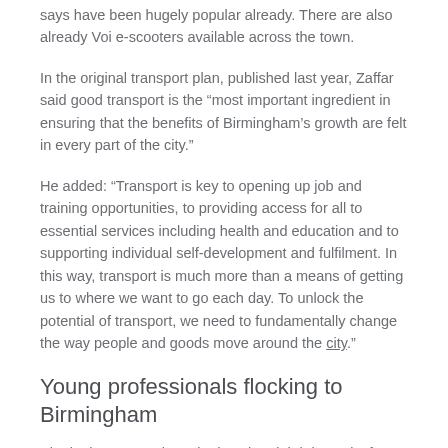says have been hugely popular already. There are also already Voi e-scooters available across the town.
In the original transport plan, published last year, Zaffar said good transport is the “most important ingredient in ensuring that the benefits of Birmingham’s growth are felt in every part of the city.”
He added: “Transport is key to opening up job and training opportunities, to providing access for all to essential services including health and education and to supporting individual self-development and fulfilment. In this way, transport is much more than a means of getting us to where we want to go each day. To unlock the potential of transport, we need to fundamentally change the way people and goods move around the city.”
Young professionals flocking to Birmingham
Birmingham recently ranked as the eighth best city for